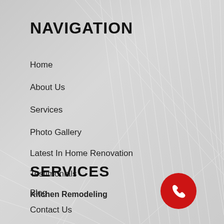NAVIGATION
Home
About Us
Services
Photo Gallery
Latest In Home Renovation
Testimonials
Blog
Contact Us
SERVICES
Kitchen Remodeling
[Figure (illustration): Red circular phone/call button icon in bottom right area]